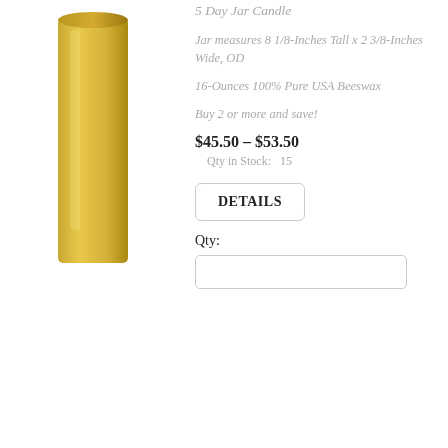[Figure (photo): A tall yellow/golden beeswax jar candle]
5 Day Jar Candle
Jar measures 8 1/8-Inches Tall x 2 3/8-Inches Wide, OD
16-Ounces 100% Pure USA Beeswax
Buy 2 or more and save!
$45.50 – $53.50
Qty in Stock:   15
DETAILS
Qty: